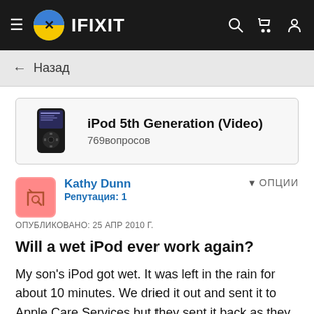[Figure (screenshot): iFixit website navigation bar with hamburger menu, iFixit logo (blue/yellow circle with X), IFIXIT brand name, and search/cart/user icons on dark background]
← Назад
[Figure (other): iPod 5th Generation (Video) device card with iPod image, title 'iPod 5th Generation (Video)' and '769вопросов']
Kathy Dunn
Репутация: 1
ОПУБЛИКОВАНО: 25 АПР 2010 Г.
Will a wet iPod ever work again?
My son's iPod got wet. It was left in the rain for about 10 minutes. We dried it out and sent it to Apple Care Services but they sent it back as they would not / could not fix it. This was in September of 2008. It has been sitting in the